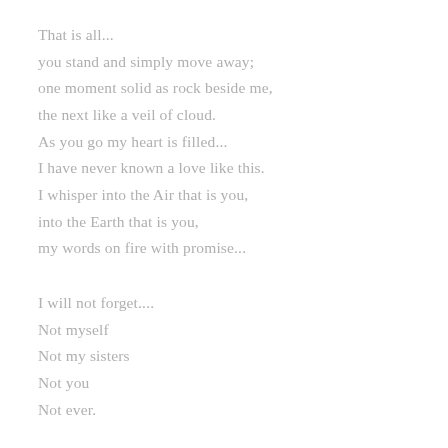That is all...
you stand and simply move away;
one moment solid as rock beside me,
the next like a veil of cloud.
As you go my heart is filled...
I have never known a love like this.
I whisper into the Air that is you,
into the Earth that is you,
my words on fire with promise...
I will not forget....
Not myself
Not my sisters
Not you
Not ever.